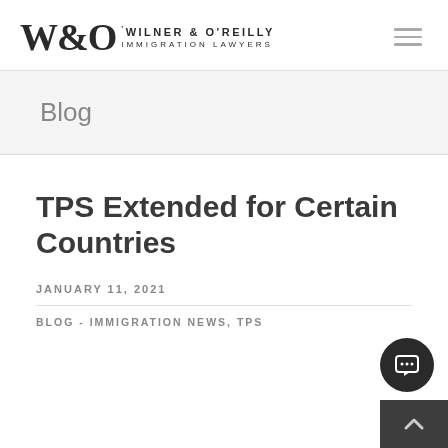[Figure (logo): W&O Wilner & O'Reilly Immigration Lawyers logo with stylized text]
Blog
TPS Extended for Certain Countries
JANUARY 11, 2021
BLOG - IMMIGRATION NEWS, TPS